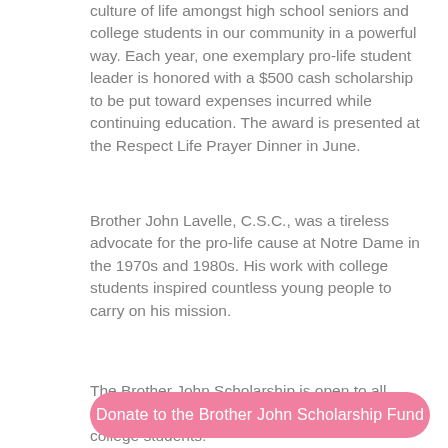culture of life amongst high school seniors and college students in our community in a powerful way. Each year, one exemplary pro-life student leader is honored with a $500 cash scholarship to be put toward expenses incurred while continuing education. The award is presented at the Respect Life Prayer Dinner in June.
Brother John Lavelle, C.S.C., was a tireless advocate for the pro-life cause at Notre Dame in the 1970s and 1980s. His work with college students inspired countless young people to carry on his mission.
The Brother John Scholarship is open to all graduating high school seniors and current college students.
Donate to the Brother John Scholarship Fund